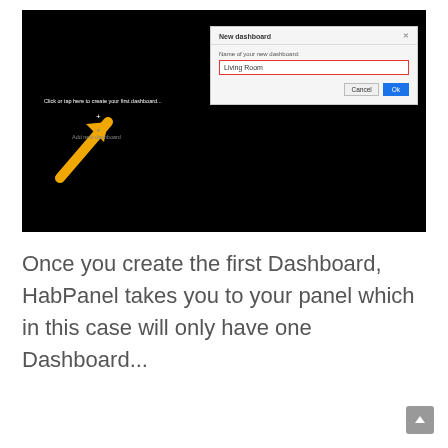[Figure (screenshot): Screenshot showing a black HabPanel dashboard screen with a 'New dashboard' dialog box open. The dialog has a text input field containing 'Living Room' with a red border, plus Cancel and OK buttons. A yellow arrow on the black background points toward 'Add new dashboard' text with a plus sign.]
Once you create the first Dashboard, HabPanel takes you to your panel which in this case will only have one Dashboard...